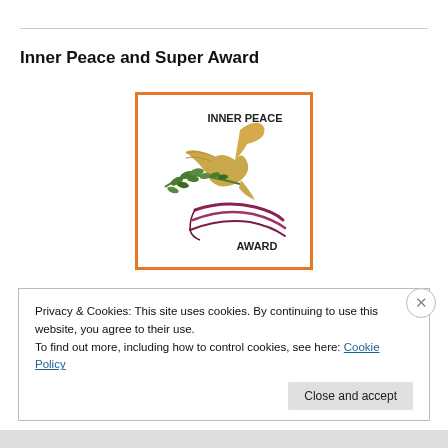Inner Peace and Super Award
[Figure (logo): Inner Peace Award logo: a golden dove in flight above a hand releasing a green olive branch, with purple flowing ribbons below. Text 'INNER PEACE' at top and 'AWARD' at bottom. Orange border frame.]
Privacy & Cookies: This site uses cookies. By continuing to use this website, you agree to their use.
To find out more, including how to control cookies, see here: Cookie Policy